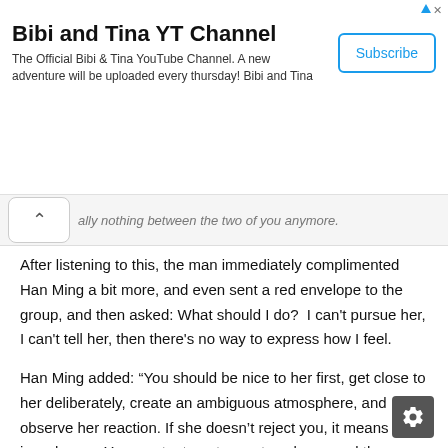[Figure (screenshot): Ad banner for Bibi and Tina YT Channel with Subscribe button]
ally nothing between the two of you anymore.
After listening to this, the man immediately complimented Han Ming a bit more, and even sent a red envelope to the group, and then asked: What should I do?  I can't pursue her, I can't tell her, then there's no way to express how I feel.
Han Ming added: “You should be nice to her first, get close to her deliberately, create an ambiguous atmosphere, and observe her reaction. If she doesn't reject you, it means there is a chance. You can try to get one step closer, and there are many other small strategies.”